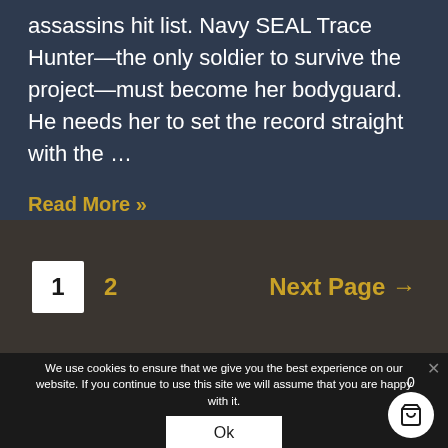assassins hit list. Navy SEAL Trace Hunter—the only soldier to survive the project—must become her bodyguard. He needs her to set the record straight with the …
Read More »
1   2   Next Page →
We use cookies to ensure that we give you the best experience on our website. If you continue to use this site we will assume that you are happy with it.
Ok